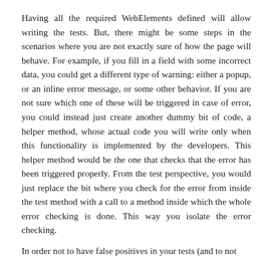Having all the required WebElements defined will allow writing the tests. But, there might be some steps in the scenarios where you are not exactly sure of how the page will behave. For example, if you fill in a field with some incorrect data, you could get a different type of warning: either a popup, or an inline error message, or some other behavior. If you are not sure which one of these will be triggered in case of error, you could instead just create another dummy bit of code, a helper method, whose actual code you will write only when this functionality is implemented by the developers. This helper method would be the one that checks that the error has been triggered properly. From the test perspective, you would just replace the bit where you check for the error from inside the test method with a call to a method inside which the whole error checking is done. This way you isolate the error checking.
In order not to have false positives in your tests (and to not